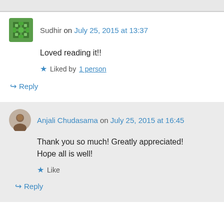Sudhir on July 25, 2015 at 13:37
Loved reading it!!
Liked by 1 person
Reply
Anjali Chudasama on July 25, 2015 at 16:45
Thank you so much! Greatly appreciated! Hope all is well!
Like
Reply